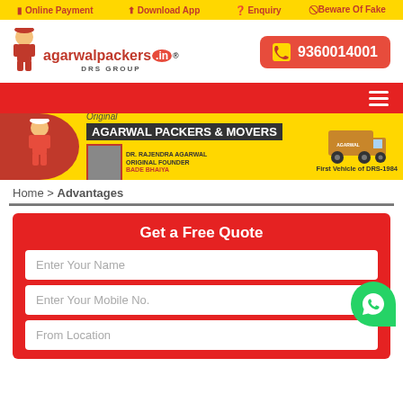Online Payment   Download App   Enquiry   Beware Of Fake
[Figure (logo): Agarwal Packers logo with mascot, agarwalpackers.in, DRS GROUP, and phone number 9360014001]
[Figure (screenshot): Red navigation bar with hamburger menu icon]
[Figure (infographic): Yellow banner: Original AGARWAL PACKERS & MOVERS, mascot, founder image, First Vehicle of DRS-1984 truck]
Home > Advantages
Get a Free Quote
Enter Your Name
Enter Your Mobile No.
From Location